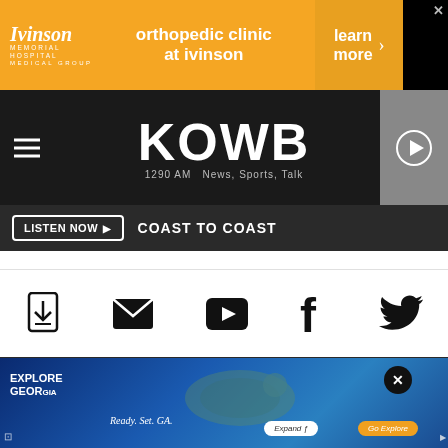[Figure (screenshot): Ivinson Memorial Hospital Medical Group advertisement banner for orthopedic clinic at Ivinson with learn more button]
[Figure (logo): KOWB 1290 AM News, Sports, Talk radio station logo with hamburger menu and play button]
LISTEN NOW  COAST TO COAST
[Figure (infographic): Social media icons row: app download, email, YouTube, Facebook, Twitter]
Equal Employment Opportunity Policy  |  Marketing and Advertising Solutions  |  Public File  |  Need Assistance  |  FCC Applications  |  Report an Inaccuracy  |  Terms  |  Contest Rules  |  Privacy Policy  |  Accessibility Statement  |  Exercise My Data Rights  |  Contact  |  Laramie Business Listings
[Figure (photo): Explore Georgia advertisement with sea turtle underwater, Ready. Set. Ga. tagline, Expand and Go Explore buttons]